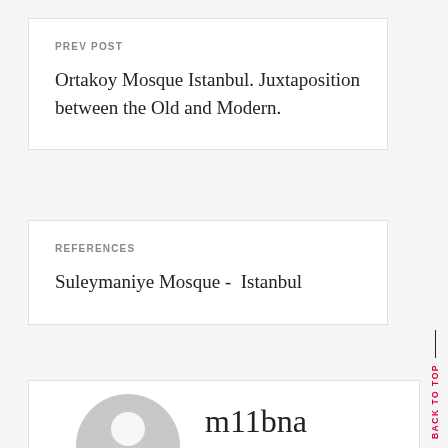PREV POST
Ortakoy Mosque Istanbul. Juxtaposition between the Old and Modern.
REFERENCES
Suleymaniye Mosque -  Istanbul
BACK TO TOP
[Figure (illustration): Gray placeholder avatar icon showing a generic person silhouette]
m11bna